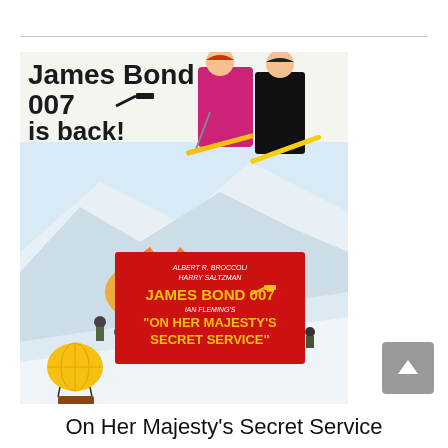[Figure (illustration): Movie poster for James Bond 007 'On Her Majesty's Secret Service'. Top portion shows bold black text 'James Bond 007 is back!' with a woman in a pink/magenta outfit skiing and a man in a black suit. Lower portion shows an action ski chase scene with explosions, a hot air balloon, and a red title card reading 'ALBERT R. BROCCOLI HARRY SALTZMAN JAMES BOND 007 IAN FLEMING'S ON HER MAJESTY'S SECRET SERVICE' in yellow lettering on red background.]
On Her Majesty's Secret Service